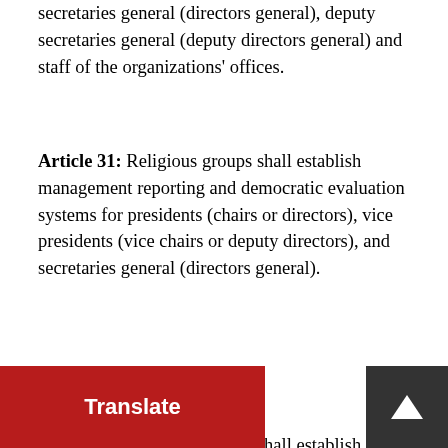secretaries general (directors general), deputy secretaries general (deputy directors general) and staff of the organizations' offices.
Article 31: Religious groups shall establish management reporting and democratic evaluation systems for presidents (chairs or directors), vice presidents (vice chairs or deputy directors), and secretaries general (directors general).
Article 32: Religious groups shall establish study systems, organizing group staff to study the major decisions and deployments of the Communist Party of China, the State policies and regulations, the exceptional traditional Chinese culture, religious knowledge, and so forth.
Article 33: In carrying out internet religious information services, religious groups shall complete relevant internal management systems, obey the relevant provisions on information services, publicize the Party directives, and policies, as well as laws, regulations related to religion; and conduct